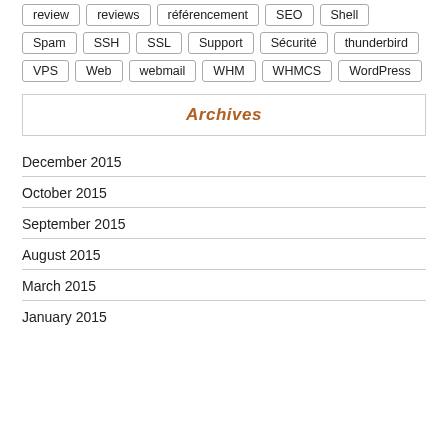review
reviews
référencement
SEO
Shell
Spam
SSH
SSL
Support
Sécurité
thunderbird
VPS
Web
webmail
WHM
WHMCS
WordPress
Archives
December 2015
October 2015
September 2015
August 2015
March 2015
January 2015